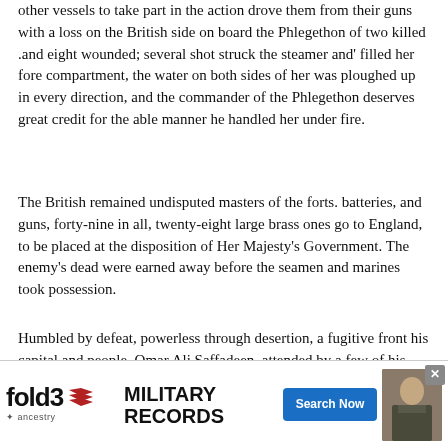other vessels to take part in the action drove them from their guns with a loss on the British side on board the Phlegethon of two killed .and eight wounded; several shot struck the steamer and' filled her fore compartment, the water on both sides of her was ploughed up in every direction, and the commander of the Phlegethon deserves great credit for the able manner he handled her under fire.
The British remained undisputed masters of the forts. batteries, and guns, forty-nine in all, twenty-eight large brass ones go to England, to be placed at the disposition of Her Majesty's Government. The enemy's dead were earned away before the seamen and marines took possession.
Humbled by defeat, powerless through desertion, a fugitive front his capital and people, Omar Ali Saffadeen, attended by a few of his nobles, took refuge from the British forces is the impenetrable jungle of the interior, nor did he stay his wretched flight till a hundred miles, and dense forests were placed between him and his persevering foe, who without correct intelligence, ignorant of the country,. and trusting to doubtful guides. fondly believed that a march and a day would surprise and capture the royal deserter. It was determined by the Admiral, without loss of time to follow up the tide of success, and the next day a marching column of 400 men, commanded by Captain Mundy, having under his orders Lieutenants Newland, Matthews, Paley, Heath, Norcock, Morgan, Captain Hawkins, R.M., Lieutenants Alexander and Mansell, R M., started with the intention of securing Tuan Pangeran Hassim (the adopted son of the sultan) first; and by a forced march afterw... timely notice of the... English the persons... sovereign
[Figure (other): Advertisement overlay for fold3 Military Records by Ancestry, with a Search Now button and a photo of a soldier.]